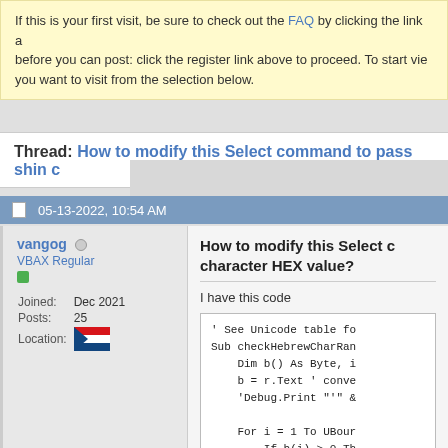If this is your first visit, be sure to check out the FAQ by clicking the link above before you can post: click the register link above to proceed. To start viewing messages, you want to visit from the selection below.
Thread: How to modify this Select command to pass shin c
05-13-2022, 10:54 AM
vangog
VBAX Regular
Joined: Dec 2021
Posts: 25
Location: (Czech Republic flag)
How to modify this Select command to pass shin character HEX value?

I have this code

' See Unicode table fo
Sub checkHebrewCharRan
    Dim b() As Byte, i
    b = r.Text ' conve
    'Debug.Print "'" &

    For i = 1 To UBour
        If b(i) > 0 Th
            a = b(i):
            Select Cas
                '64298
                Case &
                    r